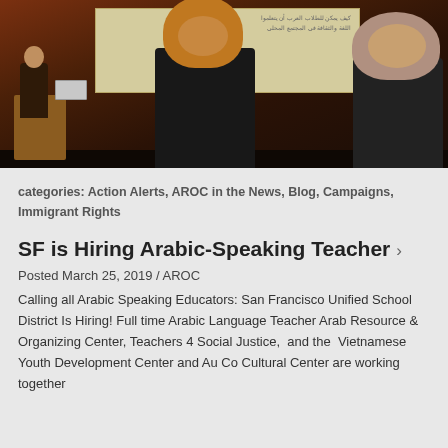[Figure (photo): A woman presenting at a podium with a laptop, with a projection screen showing Arabic text behind her. Two women wearing hijabs are seated in the foreground, viewed from behind.]
categories: Action Alerts, AROC in the News, Blog, Campaigns, Immigrant Rights
SF is Hiring Arabic-Speaking Teacher ›
Posted March 25, 2019 / AROC
Calling all Arabic Speaking Educators: San Francisco Unified School District Is Hiring! Full time Arabic Language Teacher Arab Resource & Organizing Center, Teachers 4 Social Justice,  and the  Vietnamese Youth Development Center and Au Co Cultural Center are working together